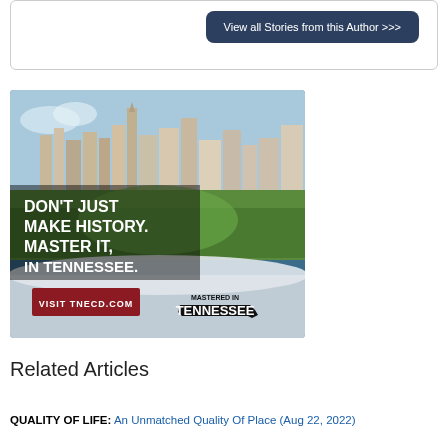View all Stories from this Author >>>
[Figure (photo): Advertisement for Tennessee Economic and Community Development (TNECD) showing aerial view of Nashville skyline with text: DON'T JUST MAKE HISTORY. MASTER IT, IN TENNESSEE. VISIT TNECD.COM. Mastered in Tennessee logo.]
Related Articles
QUALITY OF LIFE: An Unmatched Quality Of Place (Aug 22, 2022)